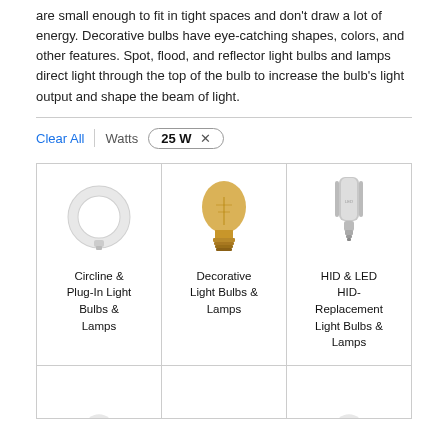are small enough to fit in tight spaces and don't draw a lot of energy. Decorative bulbs have eye-catching shapes, colors, and other features. Spot, flood, and reflector light bulbs and lamps direct light through the top of the bulb to increase the bulb's light output and shape the beam of light.
Clear All | Watts  25 W ×
[Figure (illustration): Circline fluorescent ring bulb (circular tube) in light gray/white]
Circline & Plug-In Light Bulbs & Lamps
[Figure (illustration): Edison-style decorative filament bulb with amber glass and brass base]
Decorative Light Bulbs & Lamps
[Figure (illustration): HID LED replacement bulb, tall cylindrical silver shape with screw base]
HID & LED HID-Replacement Light Bulbs & Lamps